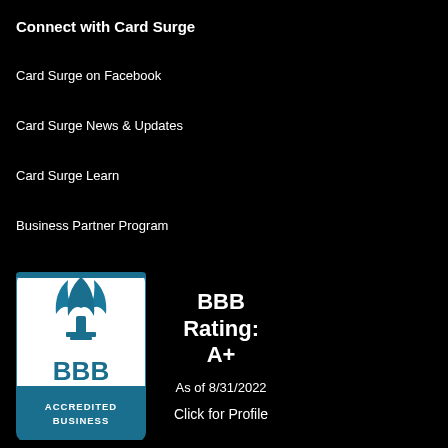Connect with Card Surge
Card Surge on Facebook
Card Surge News & Updates
Card Surge Learn
Business Partner Program
[Figure (logo): BBB Accredited Business badge with torch logo and 'BBB ACCREDITED BUSINESS' text on blue/white background]
BBB Rating: A+
As of 8/31/2022
Click for Profile